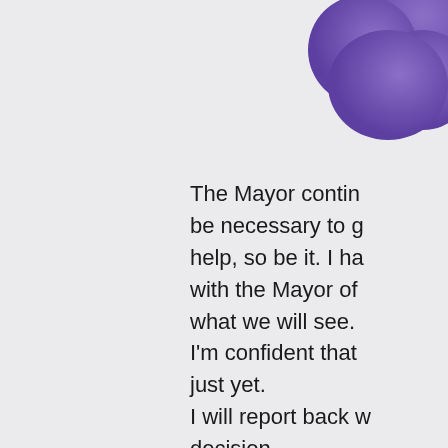[Figure (illustration): Decorative purple cloud or blob shape in the top-right corner of the page]
The Mayor contin be necessary to g help, so be it. I ha with the Mayor of what we will see. I'm confident that just yet. I will report back w decision.